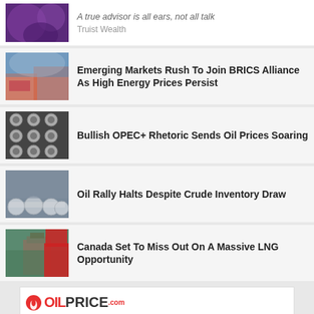[Figure (screenshot): Top ad strip with purple abstract image thumbnail, italic headline 'A true advisor is all ears, not all talk' and subtext 'Truist Wealth']
Emerging Markets Rush To Join BRICS Alliance As High Energy Prices Persist
Bullish OPEC+ Rhetoric Sends Oil Prices Soaring
Oil Rally Halts Despite Crude Inventory Draw
Canada Set To Miss Out On A Massive LNG Opportunity
[Figure (infographic): OilPrice.com advertisement banner with logo, product mockups (books and device), and a badge showing '$567 VALUE FREE']